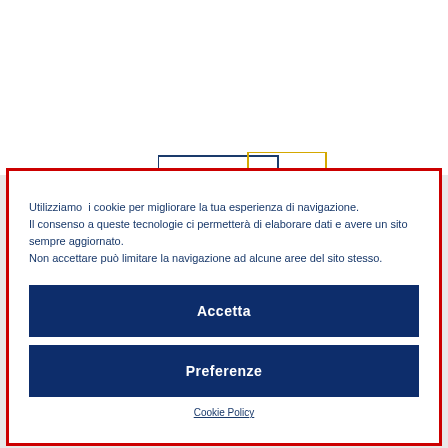[Figure (screenshot): White background area with partial logo outline (dark blue and yellow rectangle outline) visible at top]
Utilizziamo i cookie per migliorare la tua esperienza di navigazione. Il consenso a queste tecnologie ci permetterà di elaborare dati e avere un sito sempre aggiornato. Non accettare può limitare la navigazione ad alcune aree del sito stesso.
Accetta
Preferenze
Cookie Policy